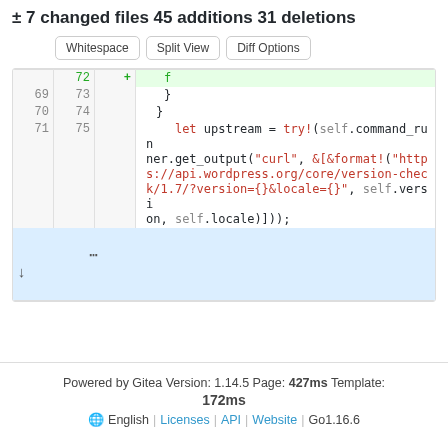± 7 changed files 45 additions 31 deletions
[Figure (screenshot): Three buttons: Whitespace, Split View, Diff Options]
| old | new | code |
| --- | --- | --- |
| 72 | + | f |
| 69 | 73 |             } |
| 70 | 74 |             } |
| 71 | 75 |             let upstream = try!(self.command_runner.get_output("curl", &[&format!("https://api.wordpress.org/core/version-check/1.7/?version={}&locale={}", self.version, self.locale)])); |
Powered by Gitea Version: 1.14.5 Page: 427ms Template: 172ms | English | Licenses | API | Website | Go1.16.6